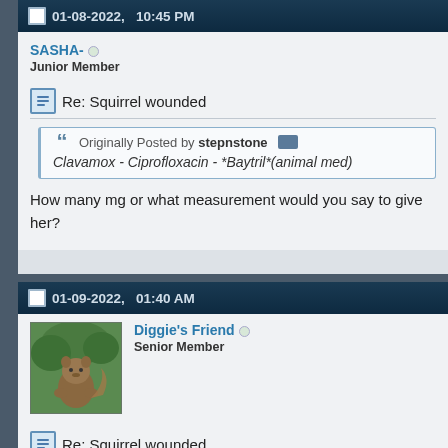01-08-2022, 10:45 PM
SASHA-
Junior Member
Re: Squirrel wounded
Originally Posted by stepnstone
Clavamox - Ciprofloxacin - *Baytril*(animal med)
How many mg or what measurement would you say to give her?
01-09-2022, 01:40 AM
Diggie's Friend
Senior Member
Re: Squirrel wounded